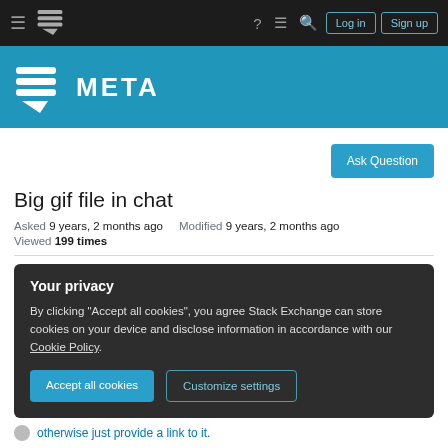Stack Exchange Meta — Navigation bar with Log in and Sign up buttons
[Figure (logo): Stack Exchange Meta site logo banner — blue background with white stacked-lines chat icon and text META]
Ask Question
Big gif file in chat
Asked 9 years, 2 months ago   Modified 9 years, 2 months ago
Viewed 199 times
Your privacy
By clicking "Accept all cookies", you agree Stack Exchange can store cookies on your device and disclose information in accordance with our Cookie Policy.
Accept all cookies   Customize settings
otherwise just provide a link to it.